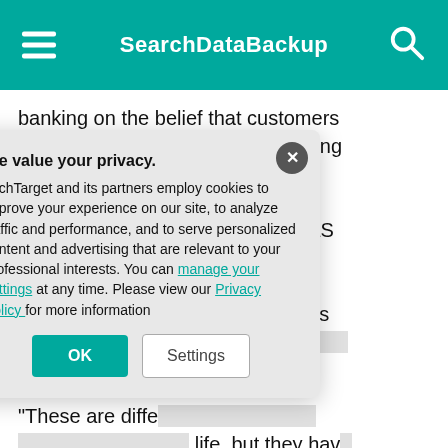SearchDataBackup
banking on the belief that customers recognize they shouldn't be handling this process themselves, Bertrand said. Moreover, the people responsible for administrating SaaS applications are often not backup admins yet are expected to fix the situation if a GitHub repository gets a[ccidentally deleted or someone gets] added.
"These are diffe[rent professionals from] life, but they hav[e the weight] neck," Bertrand [said.]
As more SaaS a[pplications grow, the market] will mature towa[rd more backup solutions,] Bertrand said. V[endors are focusing on] apps outside of t[he traditional ones more] opportunistically[.]
We value your privacy.
TechTarget and its partners employ cookies to improve your experience on our site, to analyze traffic and performance, and to serve personalized content and advertising that are relevant to your professional interests. You can manage your settings at any time. Please view our Privacy Policy for more information